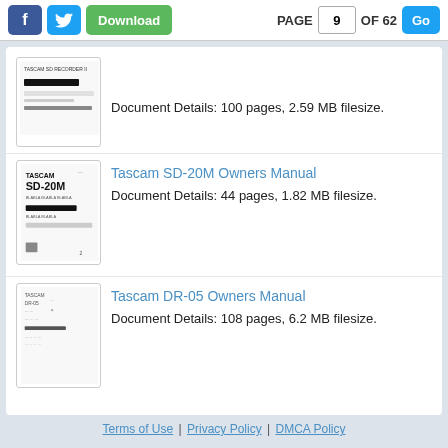PAGE 9 OF 62
Document Details: 100 pages, 2.59 MB filesize.
Tascam SD-20M Owners Manual
Document Details: 44 pages, 1.82 MB filesize.
Tascam DR-05 Owners Manual
Document Details: 108 pages, 6.2 MB filesize.
Terms of Use | Privacy Policy | DMCA Policy